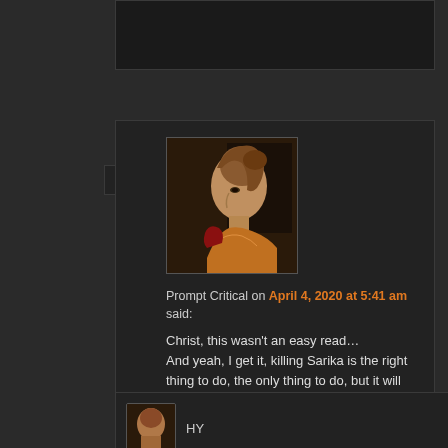[Figure (photo): Profile avatar showing a Renaissance-style portrait painting of a woman in profile view, facing left, with reddish-brown hair and ornate dress.]
Prompt Critical on April 4, 2020 at 5:41 am said:
Christ, this wasn't an easy read…
And yeah, I get it, killing Sarika is the right thing to do, the only thing to do, but it will fuck Heather up in a way none of Raine's ministrations will be able to erase. I have a hard time imagining Heather going back to reading literature after this for instance. This is the pound of flesh that magic exacts.
Reply ↓
[Figure (photo): Small avatar image with reddish-brown hair, partially visible.]
HY